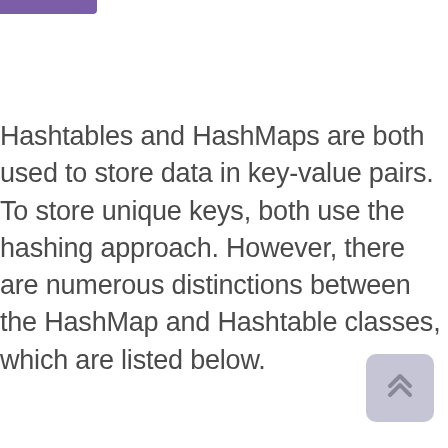Hashtables and HashMaps are both used to store data in key-value pairs. To store unique keys, both use the hashing approach. However, there are numerous distinctions between the HashMap and Hashtable classes, which are listed below.